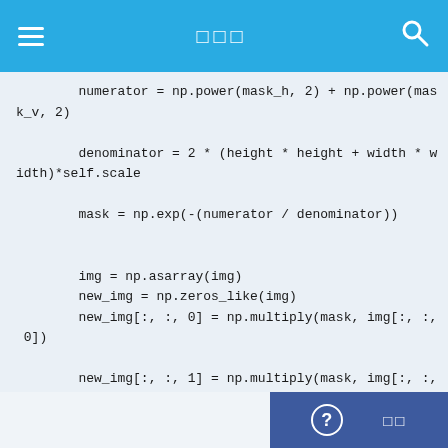≡  □□□  🔍
numerator = np.power(mask_h, 2) + np.power(mask_v, 2)

        denominator = 2 * (height * height + width * width)*self.scale

        mask = np.exp(-(numerator / denominator))


        img = np.asarray(img)
        new_img = np.zeros_like(img)
        new_img[:, :, 0] = np.multiply(mask, img[:, :, 0])

        new_img[:, :, 1] = np.multiply(mask, img[:, :, 1])

        new_img[:, :, 2] = np.multiply(mask, img[:, :, 2])


        return Image.fromarray(new_img